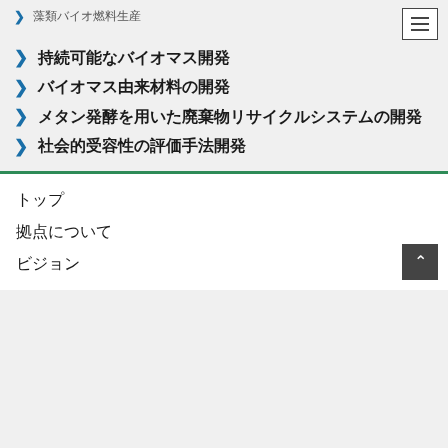藻類バイオ燃料生産
持続可能なバイオマス開発
バイオマス由来材料の開発
メタン発酵を用いた廃棄物リサイクルシステムの開発
社会的受容性の評価手法開発
トップ
拠点について
ビジョン